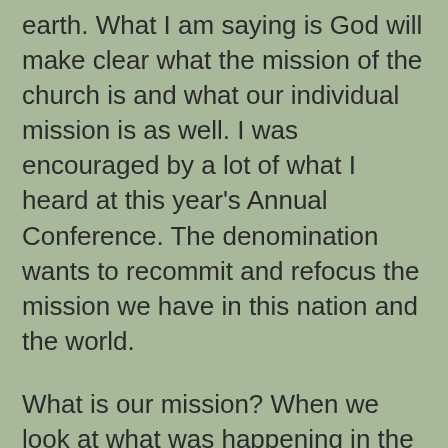earth. What I am saying is God will make clear what the mission of the church is and what our individual mission is as well. I was encouraged by a lot of what I heard at this year's Annual Conference. The denomination wants to recommit and refocus the mission we have in this nation and the world.
What is our mission? When we look at what was happening in the early church in Acts, I think we can learn what we need to do today by looking what happened in the past. Here are 6 steps we must do to fulfill our mission.
Allow God's Holy Spirit to lead us.
Continue in the unity of the faith.